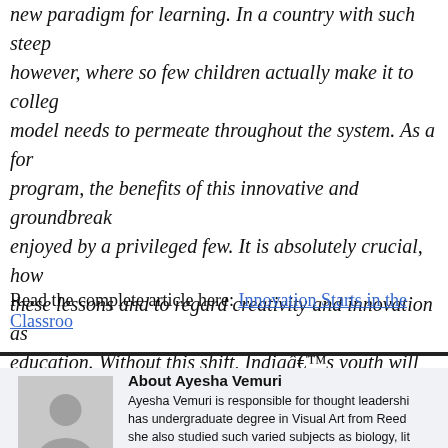new paradigm for learning. In a country with such steep however, where so few children actually make it to colleg model needs to permeate throughout the system. As a for program, the benefits of this innovative and groundbreak enjoyed by a privileged few. It is absolutely crucial, how these lessons and to regard creativity and innovation as education. Without this shift, Indiaâ€™s youth will not b rapidly-changing, technology based markets, or the glob them.
Read the complete article here: Innovation Starts in the Classroo
[Figure (photo): Author avatar placeholder image showing silhouette of a person on grey background]
About Ayesha Vemuri
Ayesha Vemuri is responsible for thought leadership has undergraduate degree in Visual Art from Reed she also studied such varied subjects as biology, lit she is responsible for curating the Design Public bl media platforms, organizing Pecha Kucha Nights a content of the Design Public Conclave and other C